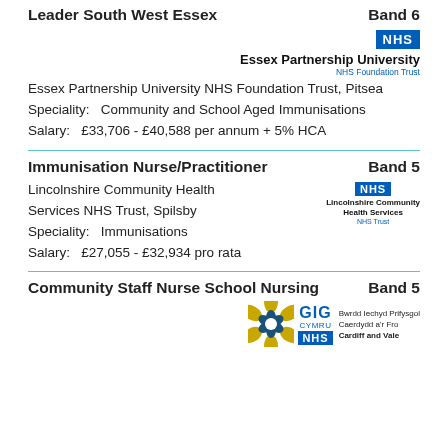Leader South West Essex   Band 6
[Figure (logo): NHS Essex Partnership University NHS Foundation Trust logo]
Essex Partnership University NHS Foundation Trust, Pitsea
Speciality:   Community and School Aged Immunisations
Salary:   £33,706 - £40,588 per annum + 5% HCA
Immunisation Nurse/Practitioner   Band 5
Lincolnshire Community Health Services NHS Trust, Spilsby
Speciality:   Immunisations
Salary:   £27,055 - £32,934 pro rata
[Figure (logo): NHS Lincolnshire Community Health Services NHS Trust logo]
Community Staff Nurse School Nursing   Band 5
[Figure (logo): GIG CYMRU NHS Cardiff and Vale University Health Board logo]